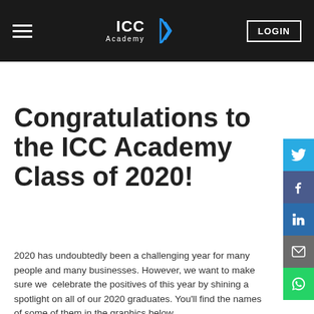ICC Academy | LOGIN
Congratulations to the ICC Academy Class of 2020!
2020 has undoubtedly been a challenging year for many people and many businesses. However, we want to make sure we  celebrate the positives of this year by shining a spotlight on all of our 2020 graduates. You'll find the names of some of them in the graphics below.